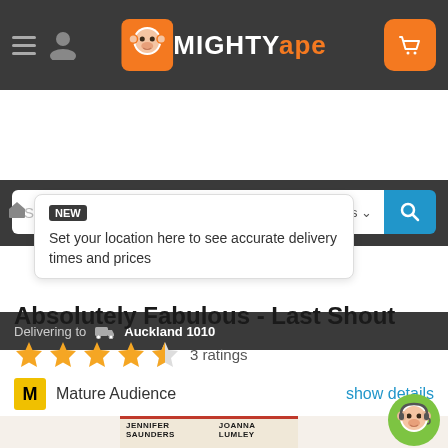[Figure (screenshot): Mighty Ape mobile app header with hamburger menu, user icon, Mighty Ape logo with monkey, and orange cart button]
[Figure (screenshot): Search bar with 'Search...' placeholder and 'in All Departments' dropdown, blue search button]
Delivering to Auckland 1010
NEW Set your location here to see accurate delivery times and prices
Absolutely Fabulous - Last Shout
3 ratings
M Mature Audience show details
[Figure (photo): DVD cover of Absolutely Fabulous - Last Shout showing Jennifer Saunders and Joanna Lumley]